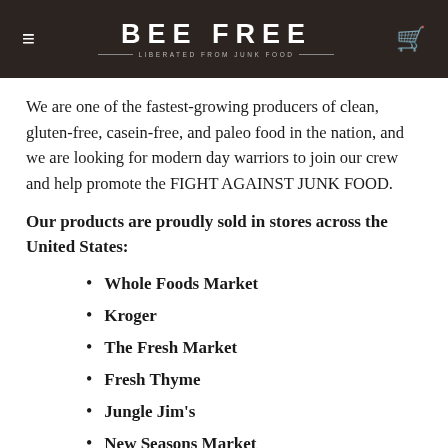BEE FREE — LIBERATED FROM JUNK FOOD
We are one of the fastest-growing producers of clean, gluten-free, casein-free, and paleo food in the nation, and we are looking for modern day warriors to join our crew and help promote the FIGHT AGAINST JUNK FOOD.
Our products are proudly sold in stores across the United States:
Whole Foods Market
Kroger
The Fresh Market
Fresh Thyme
Jungle Jim's
New Seasons Market
HyVee